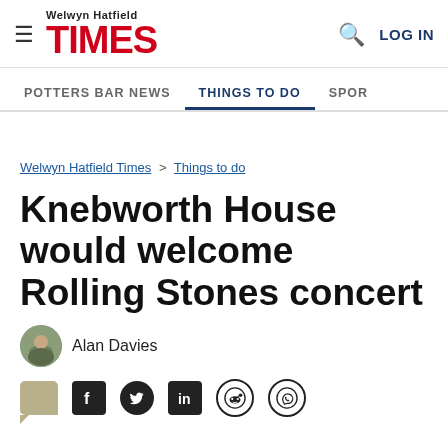Welwyn Hatfield TIMES — LOG IN
POTTERS BAR NEWS | THINGS TO DO | SPOR
Welwyn Hatfield Times > Things to do
Knebworth House would welcome Rolling Stones concert
Alan Davies
[Figure (illustration): Social sharing icons: comment, Facebook, Twitter, LinkedIn, Reddit, WhatsApp]